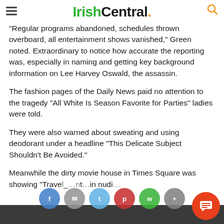IrishCentral.
“Regular programs abandoned, schedules thrown overboard, all entertainment shows vanished,” Green noted. Extraordinary to notice how accurate the reporting was, especially in naming and getting key background information on Lee Harvey Oswald, the assassin.
The fashion pages of the Daily News paid no attention to the tragedy “All White Is Season Favorite for Parties” ladies were told.
They were also warned about sweating and using deodorant under a headline “This Delicate Subject Shouldn’t Be Avoided.”
Meanwhile the dirty movie house in Times Square was showing “Travel… t… in nudi…